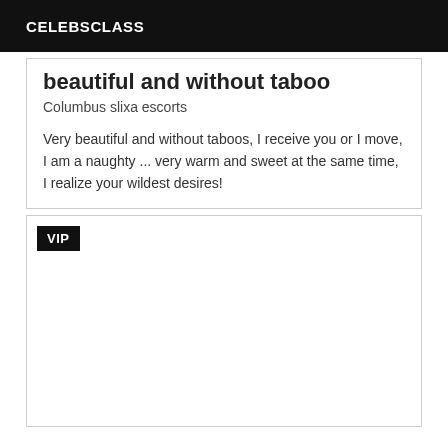CELEBSCLASS
beautiful and without taboo
Columbus slixa escorts
Very beautiful and without taboos, I receive you or I move, I am a naughty ... very warm and sweet at the same time, I realize your wildest desires!
VIP